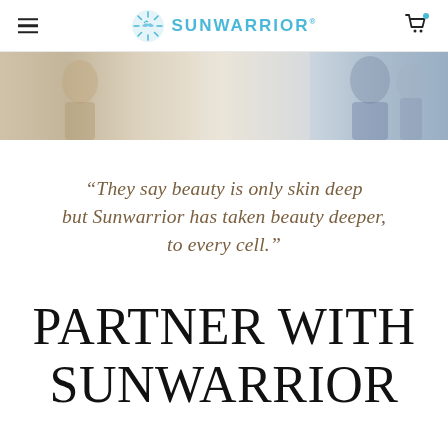SUNWARRIOR
[Figure (photo): Hero banner image showing people in a light, airy setting, faded/muted tones]
“They say beauty is only skin deep but Sunwarrior has taken beauty deeper, to every cell.”
PARTNER WITH SUNWARRIOR